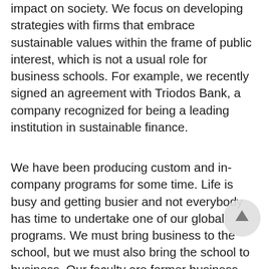impact on society. We focus on developing strategies with firms that embrace sustainable values within the frame of public interest, which is not a usual role for business schools. For example, we recently signed an agreement with Triodos Bank, a company recognized for being a leading institution in sustainable finance.
We have been producing custom and in-company programs for some time. Life is busy and getting busier and not everybody has time to undertake one of our global programs. We must bring business to the school, but we must also bring the school to business. Our faculty are former business leaders and some of our former faculty are now in the business world. Working together